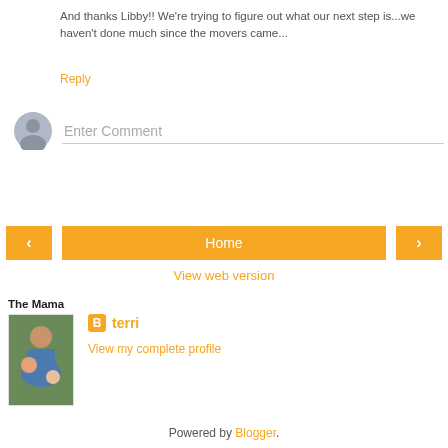And thanks Libby!! We're trying to figure out what our next step is...we haven't done much since the movers came...
Reply
Enter Comment
< Home >
View web version
The Mama
terri
View my complete profile
[Figure (photo): Profile photo of a woman holding two young children outdoors]
Powered by Blogger.